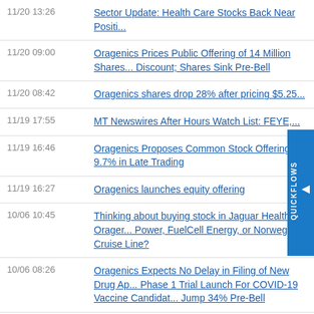| Date/Time | Headline |
| --- | --- |
| 11/20 13:26 | Sector Update: Health Care Stocks Back Near Positi... |
| 11/20 09:00 | Oragenics Prices Public Offering of 14 Million Shares... Discount; Shares Sink Pre-Bell |
| 11/20 08:42 | Oragenics shares drop 28% after pricing $5.25... |
| 11/19 17:55 | MT Newswires After Hours Watch List: FEYE,... |
| 11/19 16:46 | Oragenics Proposes Common Stock Offering... 9.7% in Late Trading |
| 11/19 16:27 | Oragenics launches equity offering |
| 10/06 10:45 | Thinking about buying stock in Jaguar Health, Orager... Power, FuelCell Energy, or Norwegian Cruise Line? |
| 10/06 08:26 | Oragenics Expects No Delay in Filing of New Drug Ap... Phase 1 Trial Launch For COVID-19 Vaccine Candidat... Jump 34% Pre-Bell |
| 10/06 07:41 | FDA backs Oragenics' Pre-IND development program... CoV-2 vaccine... |